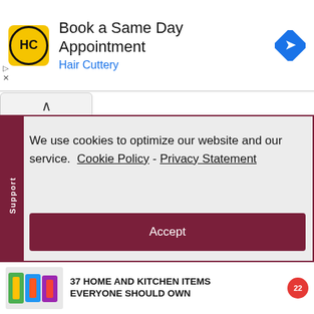[Figure (screenshot): Hair Cuttery advertisement banner with yellow HC logo, text 'Book a Same Day Appointment', blue 'Hair Cuttery' subtitle, and blue navigation arrow icon on right]
[Figure (screenshot): Cookie consent dialog with dark red border on light gray background, Support tab on left side, text about cookies with Cookie Policy and Privacy Statement links, and an Accept button]
[Figure (screenshot): Bottom advertisement banner: '37 HOME AND KITCHEN ITEMS EVERYONE SHOULD OWN' with product image and BuzzFeed logo]